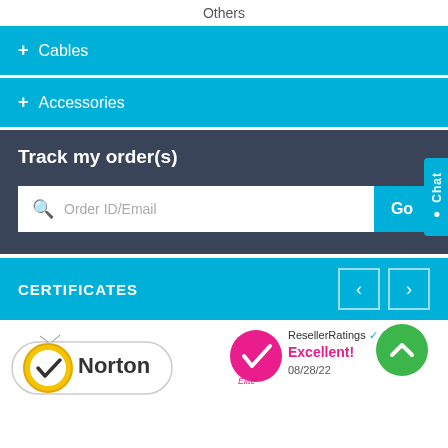Others
+ Cables
+ Accessories
Track my order(s)
Order ID/Email
Go
Chat
CERTIFICATES
[Figure (logo): Norton security badge with yellow circle and checkmark]
[Figure (logo): ResellerRatings Elite badge - Excellent! 08/28/22]